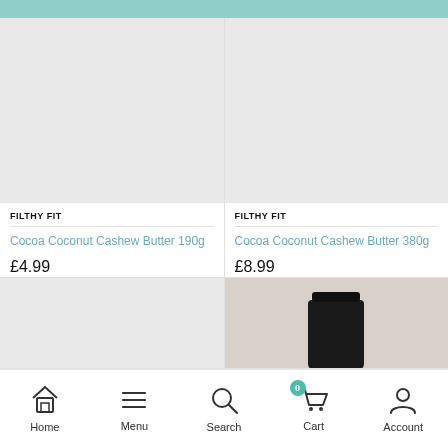[Figure (screenshot): Teal/mint top navigation bar strip]
FILTHY FIT
Cocoa Coconut Cashew Butter 190g
£4.99
FILTHY FIT
Cocoa Coconut Cashew Butter 380g
£8.99
[Figure (photo): Product image placeholder (grey)]
[Figure (photo): Product photo showing a dark jar on light background]
Home   Menu   Search   Cart   Account